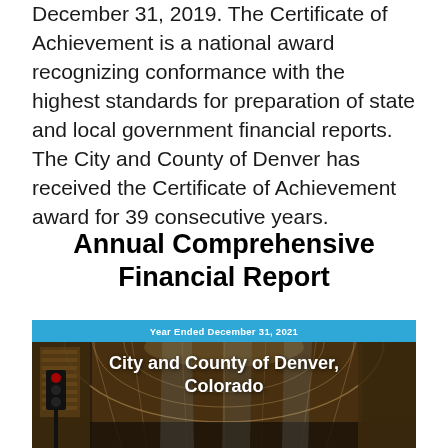December 31, 2019. The Certificate of Achievement is a national award recognizing conformance with the highest standards for preparation of state and local government financial reports. The City and County of Denver has received the Certificate of Achievement award for 39 consecutive years.
Annual Comprehensive Financial Report
[Figure (photo): Cover of the Annual Comprehensive Financial Report for the City and County of Denver, Colorado, Year Ended December 31, 2021. The cover shows a photo of a large indoor atrium or train station with a glass-vaulted roof. A traffic light is visible in the lower left. White bold text reads 'City and County of Denver, Colorado'. A blue banner at top reads 'Year Ended December 31, 2021'.]